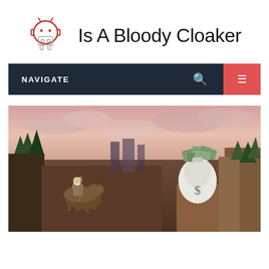Is A Bloody Cloaker
[Figure (logo): Android robot logo icon in red/grey outline style]
[Figure (infographic): Navigation bar with NAVIGATE label, search icon, and red menu button]
[Figure (photo): Fantasy game scene: a rider on a horned creature in a dramatic landscape, with a money bag full of dollar bills on a cliff edge]